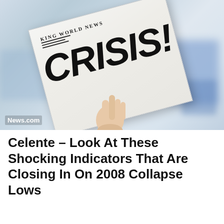[Figure (photo): A hand holding up a newspaper with the headline 'CRISIS!' in large bold letters. The newspaper masthead reads 'KING WORLD NEWS'. A watermark reads 'News.com'. Background is blurred office/city setting with blue tones.]
Celente – Look At These Shocking Indicators That Are Closing In On 2008 Collapse Lows